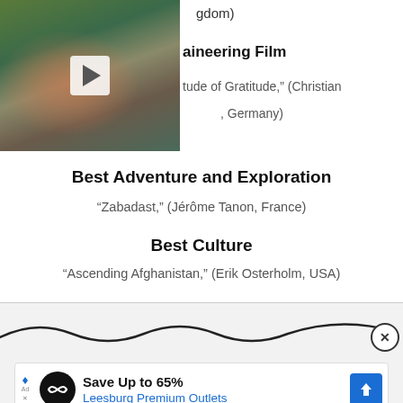[Figure (photo): Video thumbnail of a person in a pink/red top with plants in background, with a play button overlay]
gdom)
aineering Film
tude of Gratitude,” (Christian
, Germany)
Best Adventure and Exploration
“Zabadast,” (Jérôme Tanon, France)
Best Culture
“Ascending Afghanistan,” (Erik Osterholm, USA)
[Figure (screenshot): Advertisement banner: Save Up to 65% Leesburg Premium Outlets]